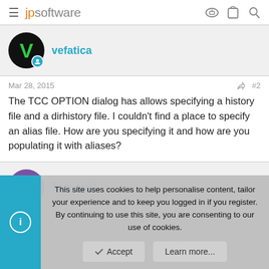jpsoftware
vefatica
Mar 28, 2015   #2
The TCC OPTION dialog has allows specifying a history file and a dirhistory file. I couldn't find a place to specify an alias file. How are you specifying it and how are you populating it with aliases?
Tom Hall
This site uses cookies to help personalise content, tailor your experience and to keep you logged in if you register.
By continuing to use this site, you are consenting to our use of cookies.
Accept   Learn more...